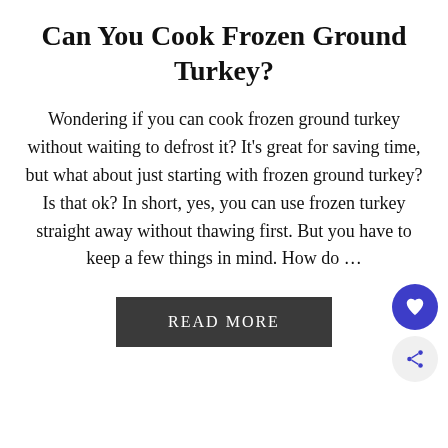Can You Cook Frozen Ground Turkey?
Wondering if you can cook frozen ground turkey without waiting to defrost it? It's great for saving time, but what about just starting with frozen ground turkey? Is that ok? In short, yes, you can use frozen turkey straight away without thawing first. But you have to keep a few things in mind. How do …